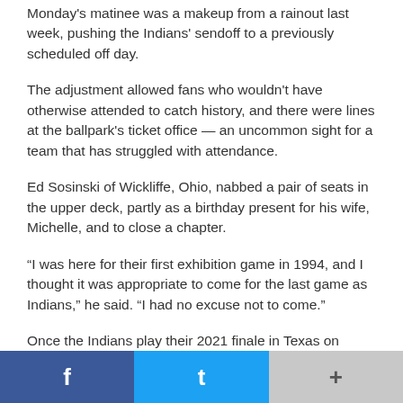Monday's matinee was a makeup from a rainout last week, pushing the Indians' sendoff to a previously scheduled off day.
The adjustment allowed fans who wouldn't have otherwise attended to catch history, and there were lines at the ballpark's ticket office — an uncommon sight for a team that has struggled with attendance.
Ed Sosinski of Wickliffe, Ohio, nabbed a pair of seats in the upper deck, partly as a birthday present for his wife, Michelle, and to close a chapter.
“I was here for their first exhibition game in 1994, and I thought it was appropriate to come for the last game as Indians,” he said. “I had no excuse not to come.”
Once the Indians play their 2021 finale in Texas on Sunday, there will be a transition period before the name officially changes to Guardians, selected from over 1,000 entries submitted during a naming process.